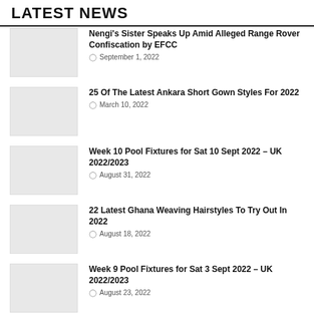LATEST NEWS
Nengi's Sister Speaks Up Amid Alleged Range Rover Confiscation by EFCC | September 1, 2022
25 Of The Latest Ankara Short Gown Styles For 2022 | March 10, 2022
Week 10 Pool Fixtures for Sat 10 Sept 2022 – UK 2022/2023 | August 31, 2022
22 Latest Ghana Weaving Hairstyles To Try Out In 2022 | August 18, 2022
Week 9 Pool Fixtures for Sat 3 Sept 2022 – UK 2022/2023 | August 23, 2022